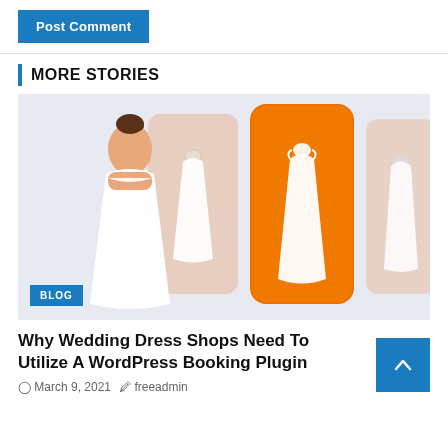Post Comment
MORE STORIES
[Figure (illustration): Wedding dress shopping app illustration showing a woman in a white bridal gown on the left, and several phone screens displaying different white wedding dresses, with the center phone highlighted in orange]
BLOG
Why Wedding Dress Shops Need To Utilize A WordPress Booking Plugin
March 9, 2021  freeadmin